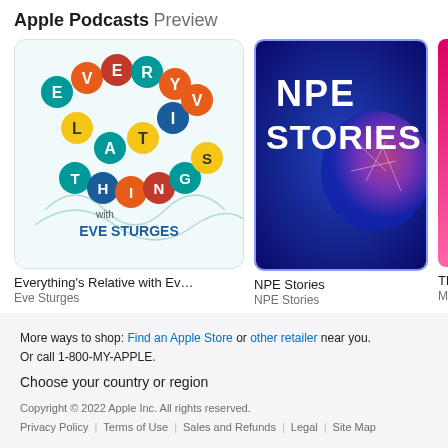Apple Podcasts Preview
[Figure (screenshot): Podcast artwork for 'Everything's Relative with Eve Sturges' — colorful letters spelling EVERYTHING'S RELATIVE on white background with 'with EVE STURGES' text]
Everything's Relative with Ev...
Eve Sturges
[Figure (screenshot): Podcast artwork for 'NPE Stories' — dark blue/purple background with brain imagery and bold text 'NPE STORIES']
NPE Stories
NPE Stories
[Figure (screenshot): Partial pink/magenta podcast artwork (cropped, third item in row)]
Th...
Mic...
More ways to shop: Find an Apple Store or other retailer near you. Or call 1-800-MY-APPLE.
Choose your country or region
Copyright © 2022 Apple Inc. All rights reserved.
Privacy Policy | Terms of Use | Sales and Refunds | Legal | Site Map